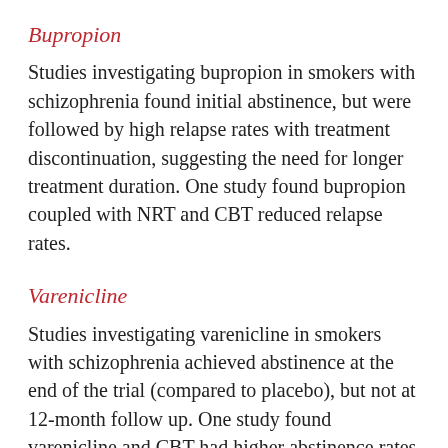Bupropion
Studies investigating bupropion in smokers with schizophrenia found initial abstinence, but were followed by high relapse rates with treatment discontinuation, suggesting the need for longer treatment duration. One study found bupropion coupled with NRT and CBT reduced relapse rates.
Varenicline
Studies investigating varenicline in smokers with schizophrenia achieved abstinence at the end of the trial (compared to placebo), but not at 12-month follow up. One study found varenicline and CBT had higher abstinence rates at 52 weeks (compared to controls). Psychiatric side effects reported did not differ between groups, suggesting varenicline is well tolerated in schizophrenia.